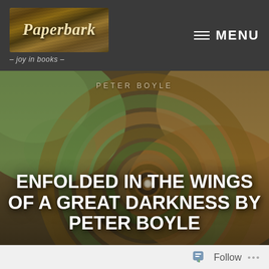[Figure (logo): Paperbark logo — textured wood-grain background with handwritten-style text]
- joy in books -
MENU
[Figure (photo): Overhead spiral staircase viewed from above, showing concentric wooden and stone rings in muted greens, browns, and ochres, with a circular opening at the center]
PETER BOYLE
ENFOLDED IN THE WINGS OF A GREAT DARKNESS BY PETER BOYLE
Follow ...